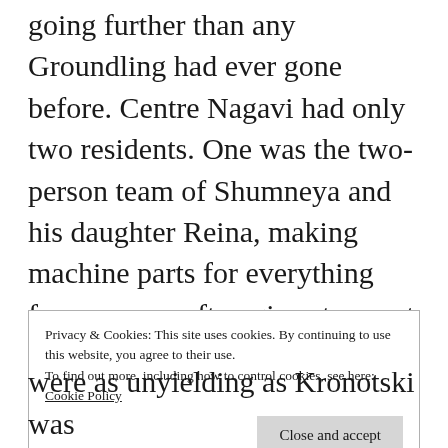Yet an emissary from Firsthome was going further than any Groundling had ever gone before. Centre Nagavi had only two residents. One was the two-person team of Shumneya and his daughter Reina, making machine parts for everything from spacecraft engines to scent sprayers. Their unique technique set them apart. The other was the scout squad of the star-city Koryak, headed by Commander
Privacy & Cookies: This site uses cookies. By continuing to use this website, you agree to their use. To find out more, including how to control cookies, see here: Cookie Policy
were as unyielding as Kronotski was